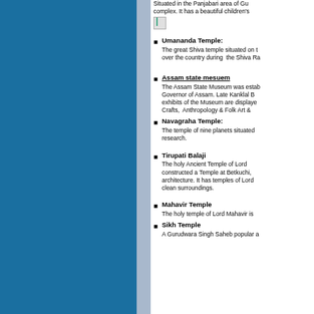Situated in the Panjabari area of Gu complex. It has a beautiful children's
Umananda Temple: The great Shiva temple situated on over the country during the Shiva Ra
Assam state mesuem: The Assam State Museum was estab Governor of Assam. Late Kanklal B exhibits of the Museum are displaye Crafts, Anthropology & Folk Art &
Navagraha Temple: The temple of nine planets situated research.
Tirupati Balaji: The holy Ancient Temple of Lord constructed a Temple at Betkuchi, architecture. It has temples of Lord clean surroundings.
Mahavir Temple: The holy temple of Lord Mahavir is
Sikh Temple: A Gurudwara Singh Saheb popular a